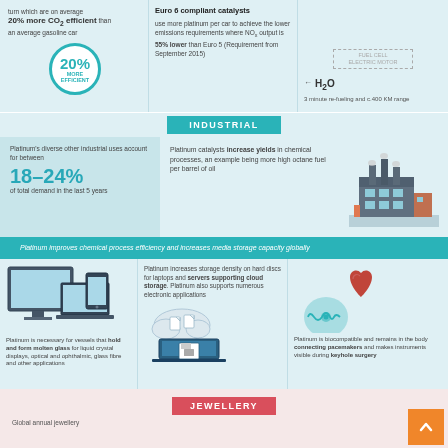[Figure (infographic): Top section with automotive CO2 efficiency (20% more CO2 efficient than average gasoline car), Euro 6 compliant catalysts with 55% lower NOx output than Euro 5, and fuel cell electric motor with H2O output, 3 minute re-fueling and c.400 KM range]
INDUSTRIAL
[Figure (infographic): Industrial section: Platinum's diverse other industrial uses account for between 18-24% of total demand in the last 5 years. Platinum catalysts increase yields in chemical processes, an example being more high octane fuel per barrel of oil. Factory illustration on right.]
Platinum improves chemical process efficiency and increases media storage capacity globally
[Figure (infographic): Bottom grid with three columns: 1) Computer/device illustration showing platinum increases storage density on hard discs for laptops and servers supporting cloud storage; 2) Cloud/laptop storage illustration; 3) Heart illustration with pacemaker - Platinum is biocompatible and remains in the body connecting pacemakers and makes instruments visible during keyhole surgery]
Platinum is necessary for vessels that hold and form molten glass for liquid crystal displays, optical and ophthalmic, glass fibre and other applications
JEWELLERY
Global annual jewellery